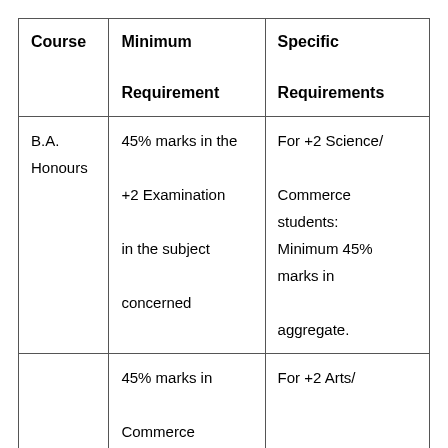| Course | Minimum Requirement | Specific Requirements |
| --- | --- | --- |
| B.A. Honours | 45% marks in the +2 Examination in the subject concerned | For +2 Science/ Commerce students: Minimum 45% marks in aggregate. |
|  | 45% marks in Commerce subjects | For +2 Arts/ |